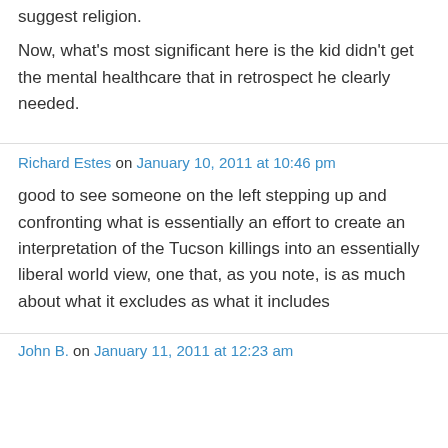suggest religion.
Now, what's most significant here is the kid didn't get the mental healthcare that in retrospect he clearly needed.
Richard Estes on January 10, 2011 at 10:46 pm
good to see someone on the left stepping up and confronting what is essentially an effort to create an interpretation of the Tucson killings into an essentially liberal world view, one that, as you note, is as much about what it excludes as what it includes
John B. on January 11, 2011 at 12:23 am